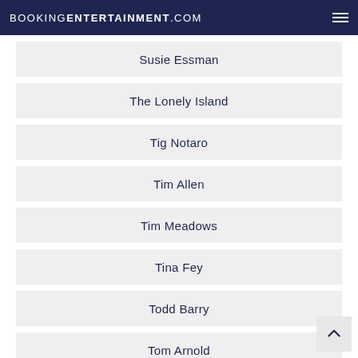BOOKINGENTERTAINMENT.COM
Susie Essman
The Lonely Island
Tig Notaro
Tim Allen
Tim Meadows
Tina Fey
Todd Barry
Tom Arnold
Tom Green